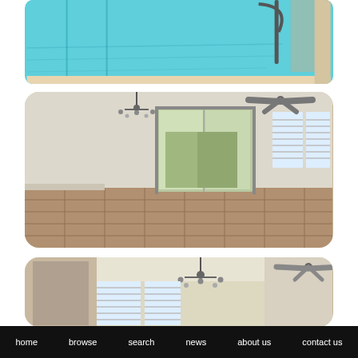[Figure (photo): Outdoor swimming pool with turquoise water, partially visible with a metal railing/basketball hoop structure]
[Figure (photo): Empty living room interior with tile floor, sliding glass door to backyard, two windows with blinds, ceiling fan, and hanging chandelier]
[Figure (photo): Partial view of similar room with chandelier, ceiling fan, sliding glass door and windows with blinds]
home   browse   search   news   about us   contact us